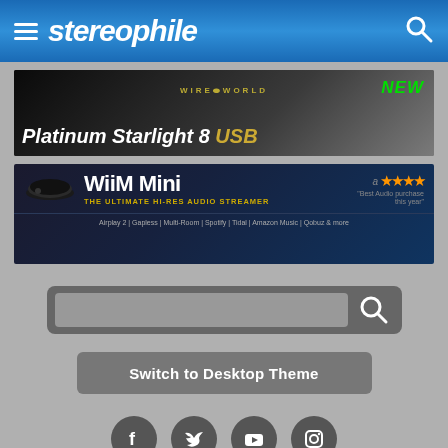stereophile
[Figure (photo): Wireworld Platinum Starlight 8 USB advertisement banner with text 'NEW' in green and 'Platinum Starlight 8 USB' in white/gold]
[Figure (photo): WiiM Mini hi-res audio streamer advertisement with star rating, 'Best Audio purchase this year' quote, subtitle 'THE ULTIMATE HI-RES AUDIO STREAMER', and feature list: Airplay 2 | Gapless | Multi-Room | Spotify | Tidal | Amazon Music | Qobuz & more]
[Figure (screenshot): Search bar with magnifying glass icon]
Switch to Desktop Theme
[Figure (infographic): Social media icons: Facebook, Twitter, YouTube, Instagram]